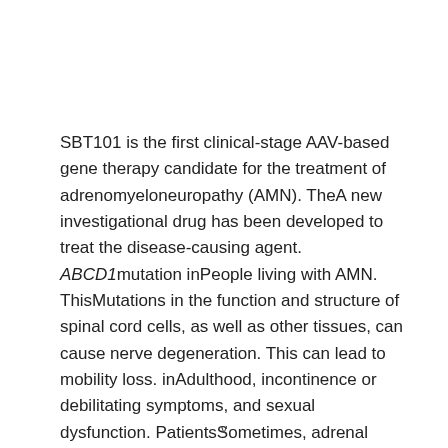SBT101 is the first clinical-stage AAV-based gene therapy candidate for the treatment of adrenomyeloneuropathy (AMN). TheA new investigational drug has been developed to treat the disease-causing agent. ABCD1mutation inPeople living with AMN. ThisMutations in the function and structure of spinal cord cells, as well as other tissues, can cause nerve degeneration. This can lead to mobility loss. inAdulthood, incontinence or debilitating symptoms, and sexual dysfunction. PatientsSometimes, adrenal gland
v